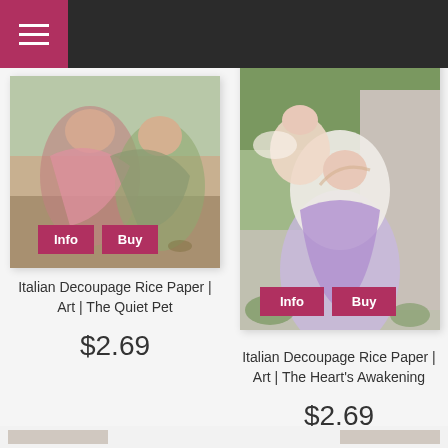[Figure (screenshot): Navigation bar with hamburger menu icon on dark background]
[Figure (photo): Italian Decoupage Rice Paper product image showing classical painting 'The Quiet Pet' with Info and Buy buttons]
Italian Decoupage Rice Paper | Art | The Quiet Pet
$2.69
[Figure (photo): Italian Decoupage Rice Paper product image showing classical painting 'The Heart's Awakening' with Info and Buy buttons]
Italian Decoupage Rice Paper | Art | The Heart's Awakening
$2.69